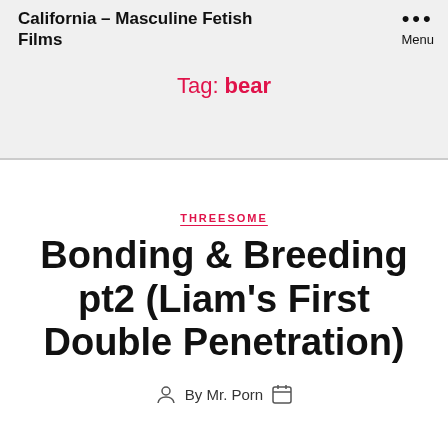California – Masculine Fetish Films
Tag: bear
THREESOME
Bonding & Breeding pt2 (Liam's First Double Penetration)
By Mr. Porn